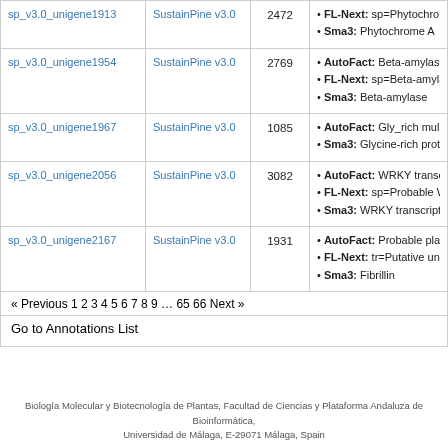| Unigene ID | Database | Length | Annotations |
| --- | --- | --- | --- |
| sp_v3.0_unigene1913 | SustainPine v3.0 | 2472 | • AutoFact: sp=Phytochro...
• FL-Next: sp=Phytochro...
• Sma3: Phytochrome A |
| sp_v3.0_unigene1954 | SustainPine v3.0 | 2769 | • AutoFact: Beta-amylas...
• FL-Next: sp=Beta-amyla...
• Sma3: Beta-amylase |
| sp_v3.0_unigene1967 | SustainPine v3.0 | 1085 | • AutoFact: Gly_rich mul...
• Sma3: Glycine-rich prot... |
| sp_v3.0_unigene2056 | SustainPine v3.0 | 3082 | • AutoFact: WRKY trans...
• FL-Next: sp=Probable W...
• Sma3: WRKY transcript... |
| sp_v3.0_unigene2167 | SustainPine v3.0 | 1931 | • AutoFact: Probable pla...
• FL-Next: tr=Putative un...
• Sma3: Fibrillin |
« Previous 1 2 3 4 5 6 7 8 9 … 65 66 Next »
Go to Annotations List
Biología Molecular y Biotecnología de Plantas, Facultad de Ciencias y Plataforma Andaluza de Bioinformática, Universidad de Málaga, E-29071 Málaga, Spain